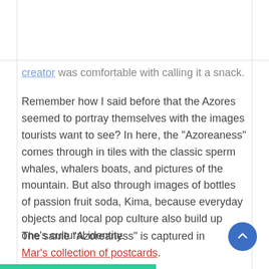creator was comfortable with calling it a snack.
Remember how I said before that the Azores seemed to portray themselves with the images tourists want to see? In here, the “Azoreaness” comes through in tiles with the classic sperm whales, whalers boats, and pictures of the mountain. But also through images of bottles of passion fruit soda, Kima, because everyday objects and local pop culture also build up one’s cultural identity.
The same “Azoreaness” is captured in Mar’s collection of postcards.